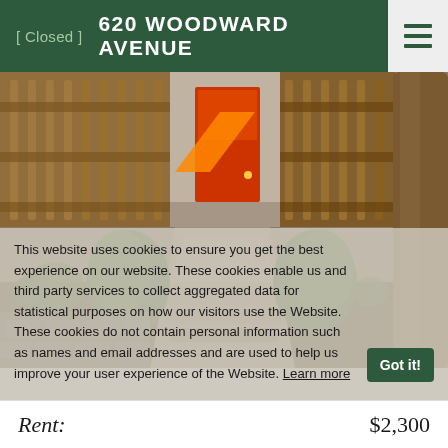[ Closed ]   620 WOODWARD AVENUE
[Figure (photo): Exterior photo of a house at 620 Woodward Avenue, showing a wooden deck/fence, red front door, stone pathway, landscaped garden with shrubs, and a large tree on the right side.]
This website uses cookies to ensure you get the best experience on our website. These cookies enable us and third party services to collect aggregated data for statistical purposes on how our visitors use the Website. These cookies do not contain personal information such as names and email addresses and are used to help us improve your user experience of the Website. Learn more
Rent:   $2,300